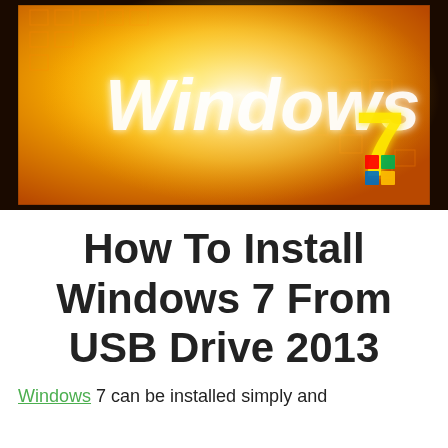[Figure (photo): Photograph of a Windows 7 logo projected or displayed on a glowing orange/yellow illuminated surface. The word 'Windows 7' is visible in bright white/yellow light against an orange background with geometric squares.]
How To Install Windows 7 From USB Drive 2013
Windows 7 can be installed simply and